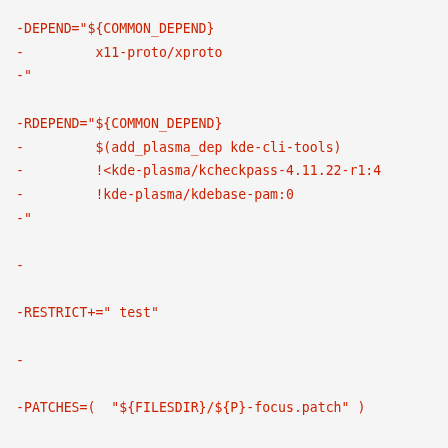-DEPEND="${COMMON_DEPEND}
-         x11-proto/xproto
-"

-RDEPEND="${COMMON_DEPEND}
-         $(add_plasma_dep kde-cli-tools)
-         !<kde-plasma/kcheckpass-4.11.22-r1:4
-         !kde-plasma/kdebase-pam:0
-"

-

-RESTRICT+=" test"

-

-PATCHES=(  "${FILESDIR}/${P}-focus.patch" )

-

-src_prepare() {
-         kde5_src_prepare

-

-         use test || sed -i \
-                 -e "/add_subdirectory(autotests)/
-}

-

-src_test() {